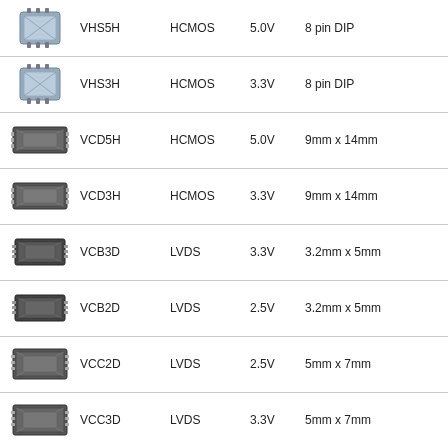| Image | Model | Logic | Voltage | Package |
| --- | --- | --- | --- | --- |
| [chip image] | VHS5H | HCMOS | 5.0V | 8 pin DIP |
| [chip image] | VHS3H | HCMOS | 3.3V | 8 pin DIP |
| [chip image] | VCD5H | HCMOS | 5.0V | 9mm x 14mm |
| [chip image] | VCD3H | HCMOS | 3.3V | 9mm x 14mm |
| [chip image] | VCB3D | LVDS | 3.3V | 3.2mm x 5mm |
| [chip image] | VCB2D | LVDS | 2.5V | 3.2mm x 5mm |
| [chip image] | VCC2D | LVDS | 2.5V | 5mm x 7mm |
| [chip image] | VCC3D | LVDS | 3.3V | 5mm x 7mm |